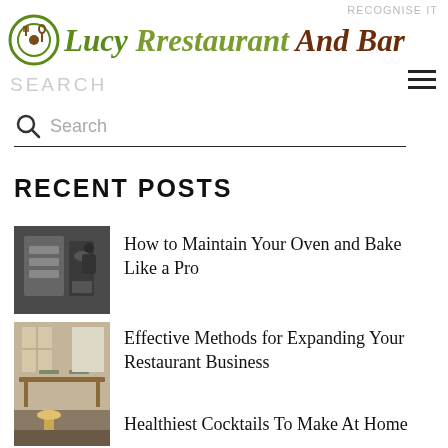RECOGNISE IT
Lucy Rrestaurant And Bar
SEARCH
[Figure (screenshot): Search input box with magnifying glass icon and placeholder text 'Search']
RECENT POSTS
[Figure (photo): Person working near an oven in a kitchen]
How to Maintain Your Oven and Bake Like a Pro
[Figure (photo): Interior of a restaurant with tables and chairs]
Effective Methods for Expanding Your Restaurant Business
[Figure (photo): Close-up of a cocktail being poured]
Healthiest Cocktails To Make At Home